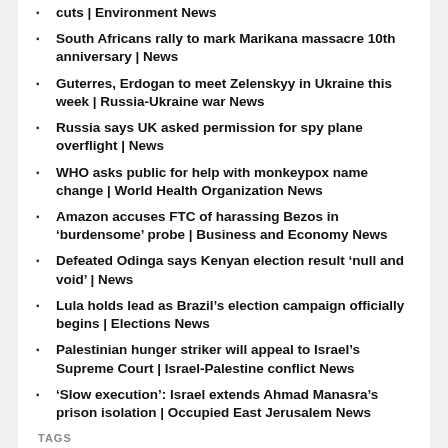cuts | Environment News
South Africans rally to mark Marikana massacre 10th anniversary | News
Guterres, Erdogan to meet Zelenskyy in Ukraine this week | Russia-Ukraine war News
Russia says UK asked permission for spy plane overflight | News
WHO asks public for help with monkeypox name change | World Health Organization News
Amazon accuses FTC of harassing Bezos in ‘burdensome’ probe | Business and Economy News
Defeated Odinga says Kenyan election result ‘null and void’ | News
Lula holds lead as Brazil’s election campaign officially begins | Elections News
Palestinian hunger striker will appeal to Israel’s Supreme Court | Israel-Palestine conflict News
‘Slow execution’: Israel extends Ahmad Manasra’s prison isolation | Occupied East Jerusalem News
TAGS